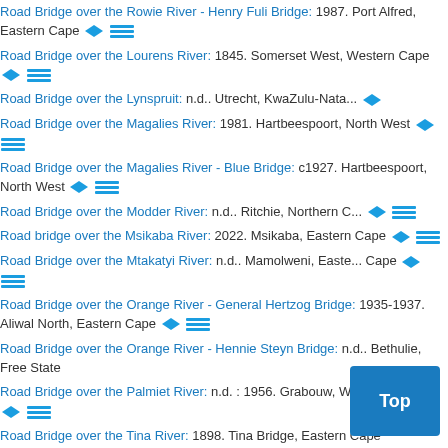Road Bridge over the Rowie River - Henry Fuli Bridge: 1987. Port Alfred, Eastern Cape
Road Bridge over the Lourens River: 1845. Somerset West, Western Cape
Road Bridge over the Lynspruit: n.d.. Utrecht, KwaZulu-Natal
Road Bridge over the Magalies River: 1981. Hartbeespoort, North West
Road Bridge over the Magalies River - Blue Bridge: c1927. Hartbeespoort, North West
Road Bridge over the Modder River: n.d.. Ritchie, Northern Cape
Road bridge over the Msikaba River: 2022. Msikaba, Eastern Cape
Road Bridge over the Mtakatyi River: n.d.. Mamolweni, Eastern Cape
Road Bridge over the Orange River - General Hertzog Bridge: 1935-1937. Aliwal North, Eastern Cape
Road Bridge over the Orange River - Hennie Steyn Bridge: n.d.. Bethulie, Free State
Road Bridge over the Palmiet River: n.d. : 1956. Grabouw, Western Cape
Road Bridge over the Tina River: 1898. Tina Bridge, Eastern Cape
Road bridge over the Toleni river: n.d.. Butterworth, Eastern Cape
Road Bridge over the Tsitsa River: n.d.. Qumbu, Eastern Cape
Road bridge over the uMtamvuna River - Mitchel Bridge: 196?. Port Edward, KwaZulu-Natal
Road Bridge over the Umzimvubu River: n.d.. Frere, Eastern Cape
Road Bridge over the Vette River: n.d.. R?, Eastern Cape
Roadbridge Bridge no. 789 over the Sterkstroom: 1966 : 2003